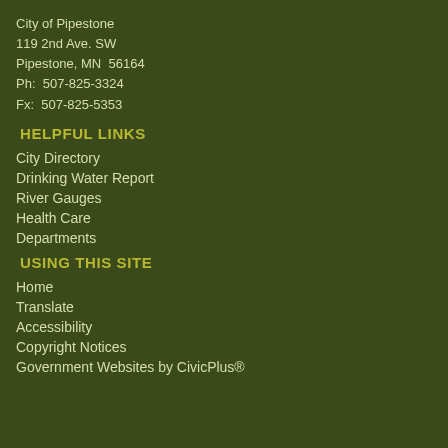City of Pipestone
119 2nd Ave. SW
Pipestone, MN  56164
Ph:  507-825-3324
Fx:  507-825-5353
HELPFUL LINKS
City Directory
Drinking Water Report
River Gauges
Health Care
Departments
USING THIS SITE
Home
Translate
Accessibility
Copyright Notices
Government Websites by CivicPlus®